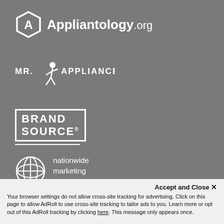[Figure (logo): Appliantology.org logo — hexagonal icon with letter A inside, followed by text 'Appliantology.org' in white on grey background]
[Figure (logo): MR. APPLIANCE logo with a cartoon running figure, white text on grey background]
[Figure (logo): BRAND SOURCE logo in white bold text inside a rectangular box outline, white underline, on grey background]
[Figure (logo): Nationwide Marketing Group logo — circular globe/lattice icon with white text 'nationwide marketing group' on grey background]
Accept and Close ✕
Your browser settings do not allow cross-site tracking for advertising. Click on this page to allow AdRoll to use cross-site tracking to tailor ads to you. Learn more or opt out of this AdRoll tracking by clicking here. This message only appears once.